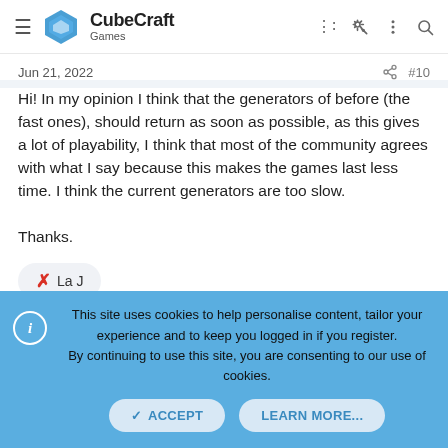CubeCraft Games
Jun 21, 2022  #10
Hi! In my opinion I think that the generators of before (the fast ones), should return as soon as possible, as this gives a lot of playability, I think that most of the community agrees with what I say because this makes the games last less time. I think the current generators are too slow.

Thanks.
✗ La J
This site uses cookies to help personalise content, tailor your experience and to keep you logged in if you register.
By continuing to use this site, you are consenting to our use of cookies.